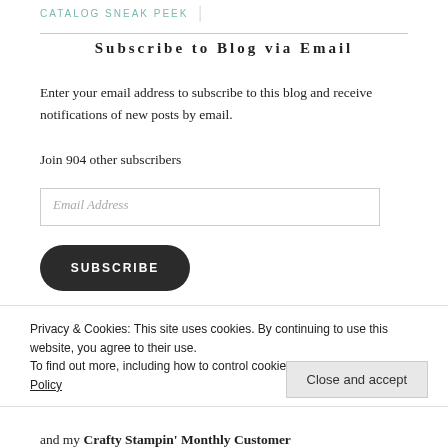CATALOG SNEAK PEEK
Subscribe to Blog via Email
Enter your email address to subscribe to this blog and receive notifications of new posts by email.
Join 904 other subscribers
Email Address
SUBSCRIBE
Privacy & Cookies: This site uses cookies. By continuing to use this website, you agree to their use.
To find out more, including how to control cookies, see here: Cookie Policy
Close and accept
and my Crafty Stampin' Monthly Customer